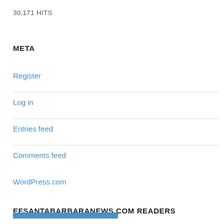30,171 HITS
META
Register
Log in
Entries feed
Comments feed
WordPress.com
EFSANTABARBARANEWS.COM READERS